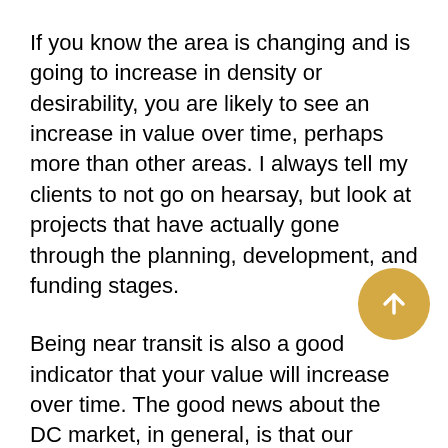If you know the area is changing and is going to increase in density or desirability, you are likely to see an increase in value over time, perhaps more than other areas. I always tell my clients to not go on hearsay, but look at projects that have actually gone through the planning, development, and funding stages.
Being near transit is also a good indicator that your value will increase over time. The good news about the DC market, in general, is that our population is increasing, our unemployment is low, and our economy is booming. That is a recipe for an increase in value over time.